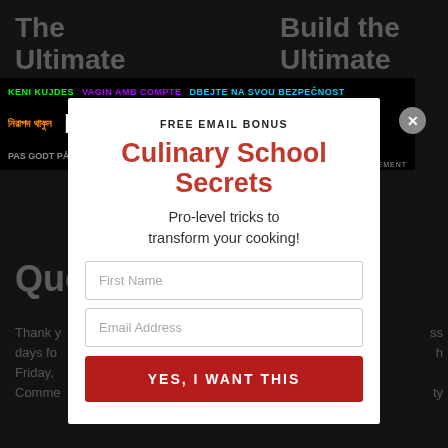The Ultimate 4th of July Cookout Menu
Build the Ultimate Mezze Platter
[Figure (screenshot): Ad banner with multilingual 'BE SAFE' public safety message on black background with colorful text in multiple languages]
Que...
Thank you... days for... Friday,... Comme...
Your e... ired fields...
Comment *
[Figure (screenshot): Email signup modal popup with 'FREE EMAIL BONUS' header, 'Culinary School Secrets' title in red, subtitle 'Pro-level tricks to transform your cooking!', First Name input, Email Address input, and red YES I WANT THIS button. Modal has close X button in top right.]